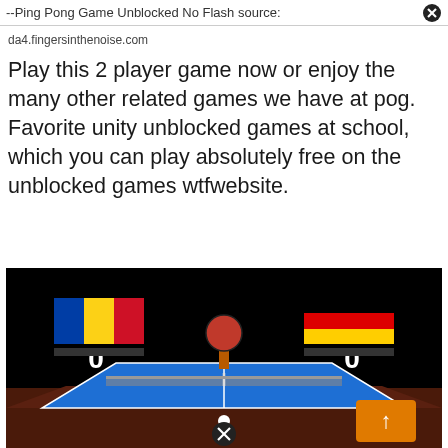Ping Pong Game Unblocked No Flash
da4.fingersinthenoise.com
Play this 2 player game now or enjoy the many other related games we have at pog. Favorite unity unblocked games at school, which you can play absolutely free on the unblocked games wtfwebsite.
[Figure (screenshot): Screenshot of a 3D ping pong / table tennis game with a blue table, two paddles, a ball, scoreboards showing 0-0, flags of Romania and Germany, and an orange arrow button in the bottom right corner.]